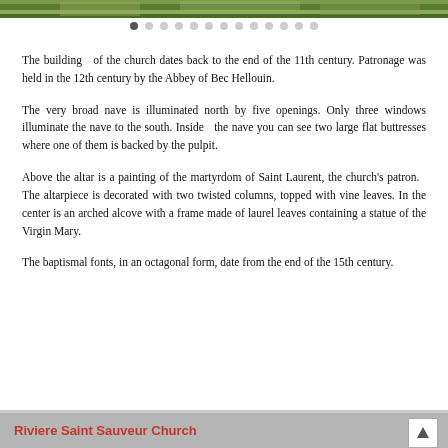[Figure (photo): Top strip of a photo showing outdoor scene with greenery and a path]
The building of the church dates back to the end of the 11th century. Patronage was held in the 12th century by the Abbey of Bec Hellouin.
The very broad nave is illuminated north by five openings. Only three windows illuminate the nave to the south. Inside the nave you can see two large flat buttresses where one of them is backed by the pulpit.
Above the altar is a painting of the martyrdom of Saint Laurent, the church's patron. The altarpiece is decorated with two twisted columns, topped with vine leaves. In the center is an arched alcove with a frame made of laurel leaves containing a statue of the Virgin Mary.
The baptismal fonts, in an octagonal form, date from the end of the 15th century.
Riviere Saint Sauveur Church